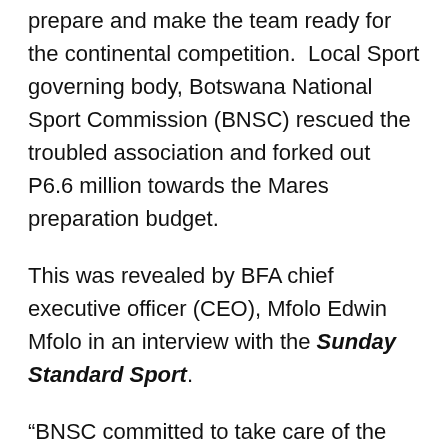prepare and make the team ready for the continental competition.  Local Sport governing body, Botswana National Sport Commission (BNSC) rescued the troubled association and forked out P6.6 million towards the Mares preparation budget.
This was revealed by BFA chief executive officer (CEO), Mfolo Edwin Mfolo in an interview with the Sunday Standard Sport.
“BNSC committed to take care of the needs of the Mares. We are delighted for them to have come on board to financially assist the team,” said the elated Mfolo.
He revealed that BNSC will cover the final training camp in Tunisia where the team is expected to go on around the 18th June. In Tunisia the team will play two friendly